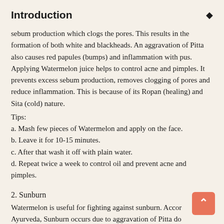Introduction
sebum production which clogs the pores. This results in the formation of both white and blackheads. An aggravation of Pitta also causes red papules (bumps) and inflammation with pus. Applying Watermelon juice helps to control acne and pimples. It prevents excess sebum production, removes clogging of pores and reduce inflammation. This is because of its Ropan (healing) and Sita (cold) nature.
Tips:
a. Mash few pieces of Watermelon and apply on the face.
b. Leave it for 10-15 minutes.
c. After that wash it off with plain water.
d. Repeat twice a week to control oil and prevent acne and pimples.
2. Sunburn
Watermelon is useful for fighting against sunburn. According to Ayurveda, Sunburn occurs due to aggravation of Pitta dosha because of continuous exposure to sun. Applying Watermelon pulp paste gives excellent cooling effect and reduce burning sensation due to its Sita (cold) and Ropan (healing) nature.